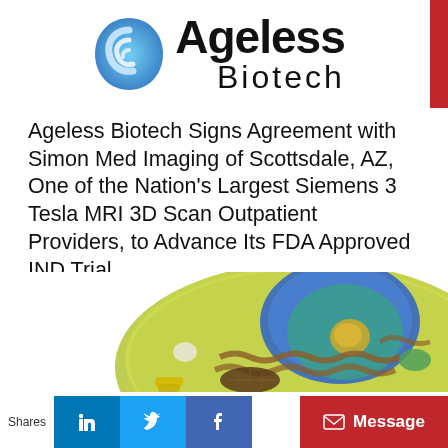[Figure (logo): Ageless Biotech logo with blue swirl icon on the left and 'Ageless Biotech' text on the right, with a red bar on the far right edge]
Ageless Biotech Signs Agreement with Simon Med Imaging of Scottsdale, AZ, One of the Nation's Largest Siemens 3 Tesla MRI 3D Scan Outpatient Providers, to Advance Its FDA Approved IND Trial
[Figure (illustration): 3D illustration of an animal cell showing internal organelles including nucleus, mitochondria, endoplasmic reticulum, and other structures with a yellowish-green outer membrane]
Shares  [LinkedIn] [Twitter] [Facebook]  Message